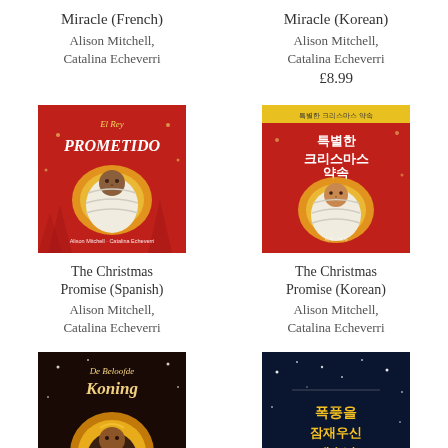Miracle (French)
Alison Mitchell,
Catalina Echeverri
Miracle (Korean)
Alison Mitchell,
Catalina Echeverri
£8.99
[Figure (illustration): Book cover: El Rey Prometido - red background with baby in manger wrapped in white cloth, glowing halo of hay]
The Christmas Promise (Spanish)
Alison Mitchell,
Catalina Echeverri
[Figure (illustration): Book cover: Korean Christmas Promise - red background with baby in manger wrapped in white cloth, Korean text at top]
The Christmas Promise (Korean)
Alison Mitchell,
Catalina Echeverri
[Figure (illustration): Book cover: De Beloofde Koning - dark background with baby/king figure with golden halo]
[Figure (illustration): Book cover: Korean title - dark blue/night background with Korean text]